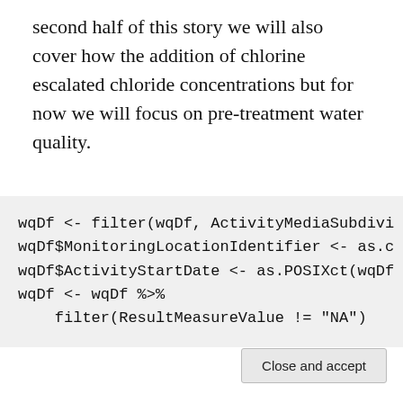second half of this story we will also cover how the addition of chlorine escalated chloride concentrations but for now we will focus on pre-treatment water quality.
wqDf <- filter(wqDf, ActivityMediaSubdivi
wqDf$MonitoringLocationIdentifier <- as.c
wqDf$ActivityStartDate <- as.POSIXct(wqDf
wqDf <- wqDf %>%
    filter(ResultMeasureValue != "NA")
We now would like to see if there is a significant difference
Privacy & Cookies: This site uses cookies. By continuing to use this website, you agree to their use.
To find out more, including how to control cookies, see here: Cookie Policy